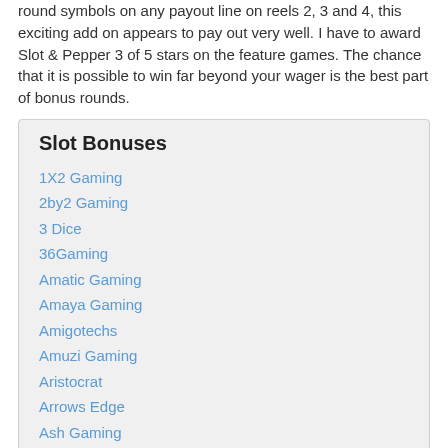round symbols on any payout line on reels 2, 3 and 4, this exciting add on appears to pay out very well. I have to award Slot & Pepper 3 of 5 stars on the feature games. The chance that it is possible to win far beyond your wager is the best part of bonus rounds.
Slot Bonuses
1X2 Gaming
2by2 Gaming
3 Dice
36Gaming
Amatic Gaming
Amaya Gaming
Amigotechs
Amuzi Gaming
Aristocrat
Arrows Edge
Ash Gaming
B3W
Bally Technologies
Bally Technology
Barcrest